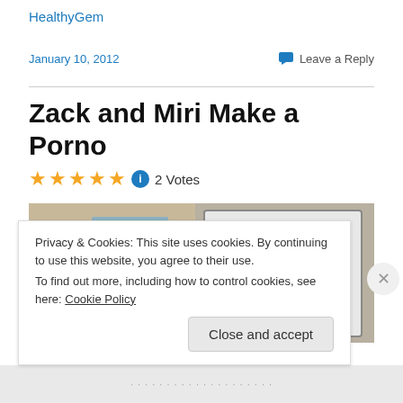HealthyGem
January 10, 2012
Leave a Reply
Zack and Miri Make a Porno
★★★★★ ℹ 2 Votes
[Figure (photo): Movie still from Zack and Miri Make a Porno showing two characters in a room with shelving and a whiteboard]
Privacy & Cookies: This site uses cookies. By continuing to use this website, you agree to their use.
To find out more, including how to control cookies, see here: Cookie Policy
Close and accept